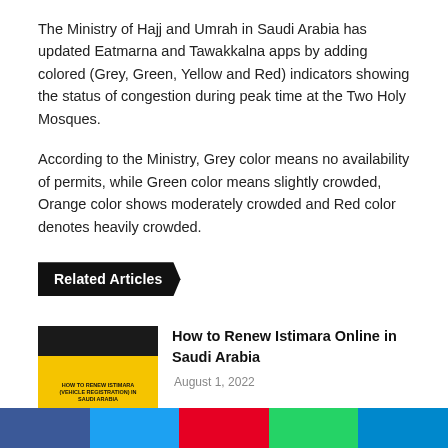The Ministry of Hajj and Umrah in Saudi Arabia has updated Eatmarna and Tawakkalna apps by adding colored (Grey, Green, Yellow and Red) indicators showing the status of congestion during peak time at the Two Holy Mosques.
According to the Ministry, Grey color means no availability of permits, while Green color means slightly crowded, Orange color shows moderately crowded and Red color denotes heavily crowded.
Related Articles
[Figure (photo): Thumbnail image for article about How to Renew Istimara in Saudi Arabia, with yellow background and text overlay]
How to Renew Istimara Online in Saudi Arabia
August 1, 2022